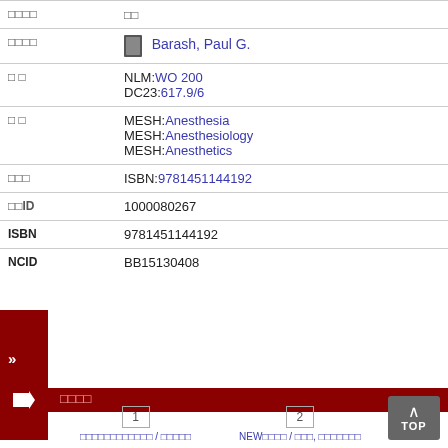| □□□□ | □□ |
| □□□□ | Barash, Paul G. |
| □ □ | NLM:WO 200
DC23:617.9/6 |
| □ □ | MESH:Anesthesia
MESH:Anesthesiology
MESH:Anesthetics |
| □□□ | ISBN:9781451144192 |
| □□ID | 1000080267 |
| ISBN | 9781451144192 |
| NCID | BB15130408 |
□□□□
1  □□□□□□□□□□□□ / □□□□□
2  NEW□□□□ / □□□, □□□□□□□